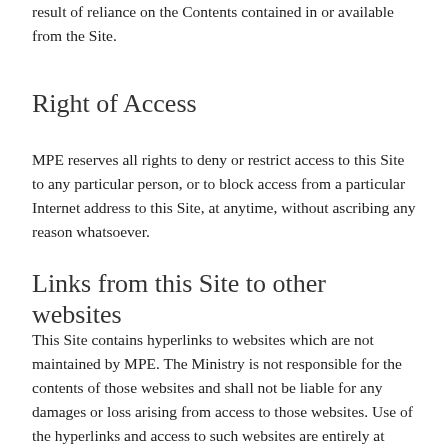result of reliance on the Contents contained in or available from the Site.
Right of Access
MPE reserves all rights to deny or restrict access to this Site to any particular person, or to block access from a particular Internet address to this Site, at anytime, without ascribing any reason whatsoever.
Links from this Site to other websites
This Site contains hyperlinks to websites which are not maintained by MPE. The Ministry is not responsible for the contents of those websites and shall not be liable for any damages or loss arising from access to those websites. Use of the hyperlinks and access to such websites are entirely at your own risk.